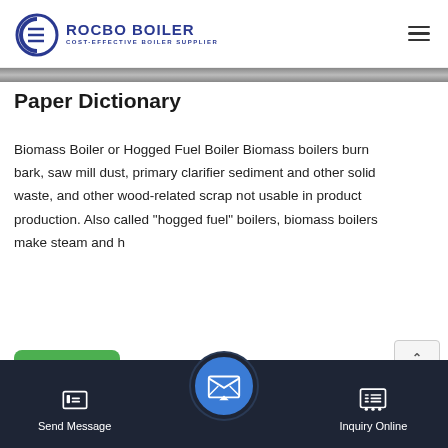ROCBO BOILER — COST-EFFECTIVE BOILER SUPPLIER
Paper Dictionary
Biomass Boiler or Hogged Fuel Boiler Biomass boilers burn bark, saw mill dust, primary clarifier sediment and other solid waste, and other wood-related scrap not usable in product production. Also called "hogged fuel" boilers, biomass boilers make steam and h...
[Figure (screenshot): Green Get Price button]
[Figure (photo): Industrial boiler pipes photo]
Send Message | Inquiry Online